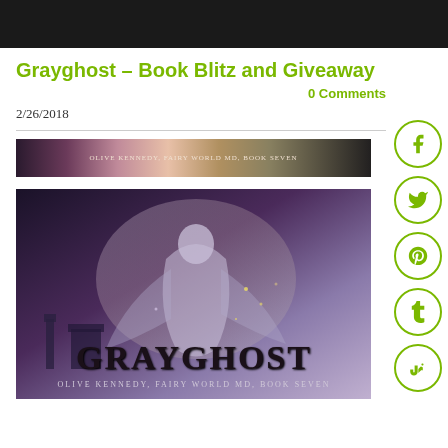Grayghost – Book Blitz and Giveaway
0 Comments
2/26/2018
[Figure (photo): Banner image for Grayghost book blitz with text: Olive Kennedy, Fairy World MD, Book Seven]
[Figure (photo): Book cover for Grayghost by Olive Kennedy, Fairy World MD, Book Seven — showing a ghostly cloaked figure hovering over a dark mystical landscape with the title GRAYGHOST in large text]